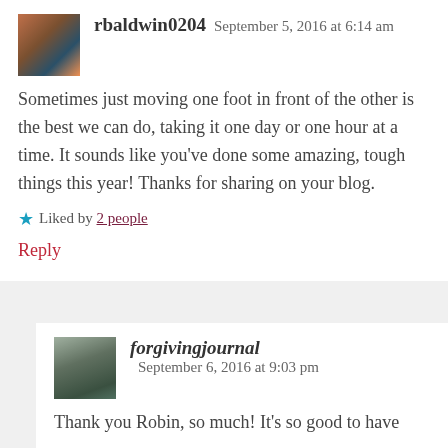rbaldwin0204   September 5, 2016 at 6:14 am
Sometimes just moving one foot in front of the other is the best we can do, taking it one day or one hour at a time. It sounds like you’ve done some amazing, tough things this year! Thanks for sharing on your blog.
★ Liked by 2 people
Reply
forgivingjournal   September 6, 2016 at 9:03 pm
Thank you Robin, so much! It’s so good to have